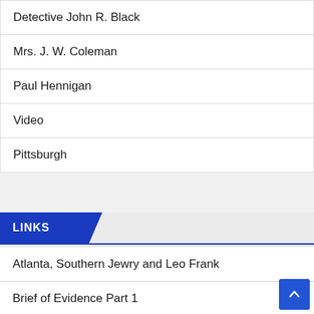Detective John R. Black
Mrs. J. W. Coleman
Paul Hennigan
Video
Pittsburgh
LINKS
Atlanta, Southern Jewry and Leo Frank
Brief of Evidence Part 1